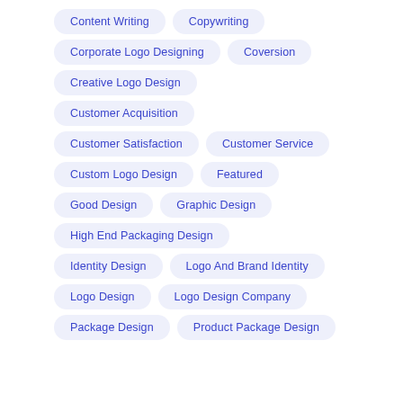Content Writing
Copywriting
Corporate Logo Designing
Coversion
Creative Logo Design
Customer Acquisition
Customer Satisfaction
Customer Service
Custom Logo Design
Featured
Good Design
Graphic Design
High End Packaging Design
Identity Design
Logo And Brand Identity
Logo Design
Logo Design Company
Package Design
Product Package Design